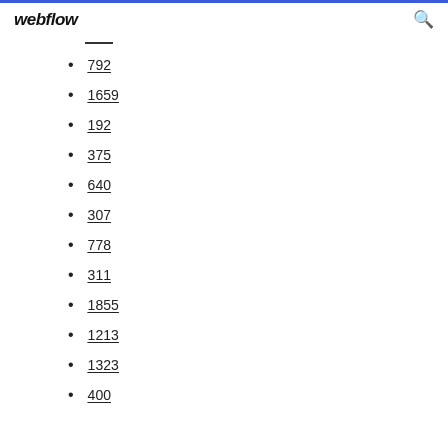webflow
792
1659
192
375
640
307
778
311
1855
1213
1323
400